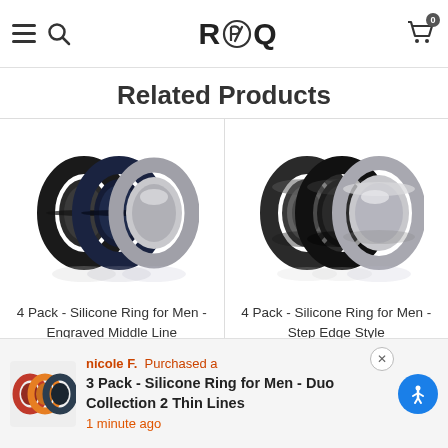ROQ - navigation header with hamburger menu, search, logo, and cart
Related Products
[Figure (photo): 4 Pack - Silicone Ring for Men - Engraved Middle Line - stacked rings in black, navy, and metallic silver]
4 Pack - Silicone Ring for Men - Engraved Middle Line
★★★★★346
[Figure (photo): 4 Pack - Silicone Ring for Men - Step Edge Style - stacked rings in camo, black, and metallic silver]
4 Pack - Silicone Ring for Men - Step Edge Style
★★★★★248
nicole F. Purchased a 3 Pack - Silicone Ring for Men - Duo Collection 2 Thin Lines — 1 minute ago